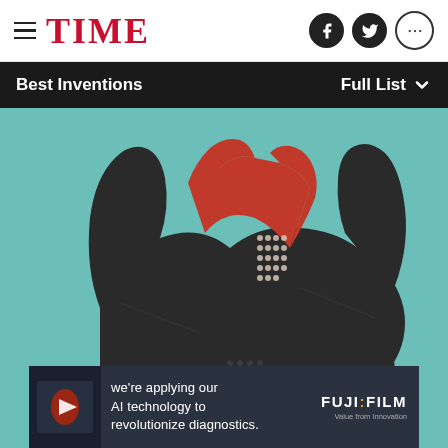TIME
Best Inventions    Full List
[Figure (photo): Black and red sports bra on teal background, shown from behind/side angle, featuring a racerback design with red accent straps forming a Y shape and small perforated dot details on the fabric]
[Figure (infographic): Fujifilm advertisement banner: 'we're applying our AI technology to revolutionize diagnostics.' with Fujifilm logo and 'Value from innovation' tagline]